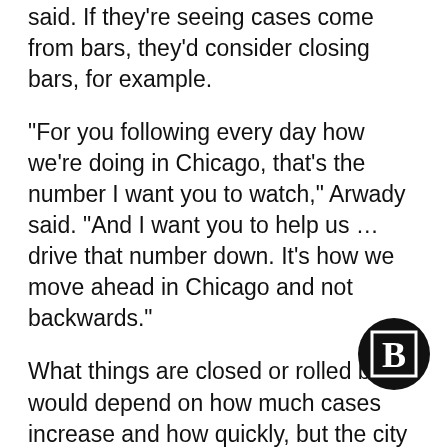said. If they're seeing cases come from bars, they'd consider closing bars, for example.
“For you following every day how we’re doing in Chicago, that’s the number I want you to watch,” Arwady said. “And I want you to help us … drive that number down. It’s how we move ahead in Chicago and not backwards.”
What things are closed or rolled back would depend on how much cases increase and how quickly, but the city could consider a full move back into Phase 3 if Chicago was seeing an average of more than 400 new cases per day, officials said.
[Figure (logo): Block Club Chicago logo: black circle with a bold letter B in white on a black square inside]
An uptick would mean Chicago has “no choice”